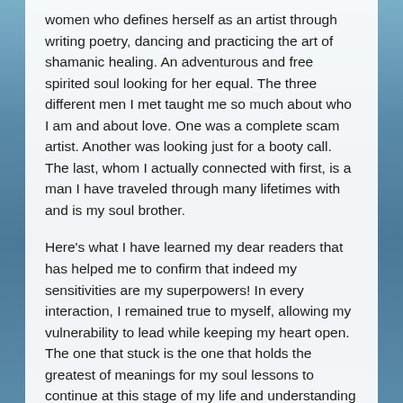women who defines herself as an artist through writing poetry, dancing and practicing the art of shamanic healing. An adventurous and free spirited soul looking for her equal. The three different men I met taught me so much about who I am and about love. One was a complete scam artist. Another was looking just for a booty call. The last, whom I actually connected with first, is a man I have traveled through many lifetimes with and is my soul brother.
Here's what I have learned my dear readers that has helped me to confirm that indeed my sensitivities are my superpowers! In every interaction, I remained true to myself, allowing my vulnerability to lead while keeping my heart open. The one that stuck is the one that holds the greatest of meanings for my soul lessons to continue at this stage of my life and understanding of myself. The other two were